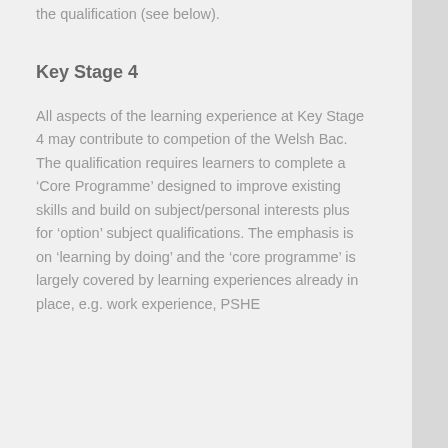the qualification (see below).
Key Stage 4
All aspects of the learning experience at Key Stage 4 may contribute to competion of the Welsh Bac. The qualification requires learners to complete a ‘Core Programme’ designed to improve existing skills and build on subject/personal interests plus for ‘option’ subject qualifications. The emphasis is on ‘learning by doing’ and the ‘core programme’ is largely covered by learning experiences already in place, e.g. work experience, PSHE